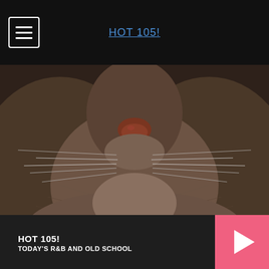HOT 105!
[Figure (photo): Close-up photograph of a cat's face, showing the nose, whiskers, and fur in detail against a dark brown/grey background.]
Some acts from your cat may be a sign for alarm. Get to know it now
Geas.best
HOT 105! TODAY'S R&B AND OLD SCHOOL